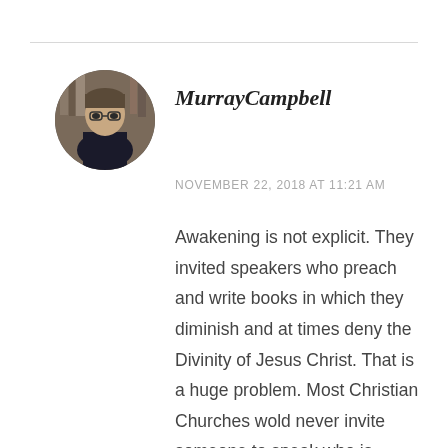MurrayCampbell
NOVEMBER 22, 2018 AT 11:21 AM
Awakening is not explicit. They invited speakers who preach and write books in which they diminish and at times deny the Divinity of Jesus Christ. That is a huge problem. Most Christian Churches wold never invite someone to speak who is known to fudge the deity of Christ, because this is one of the core beliefs that makes Christianity, Christianity. This is one of the reasons why most